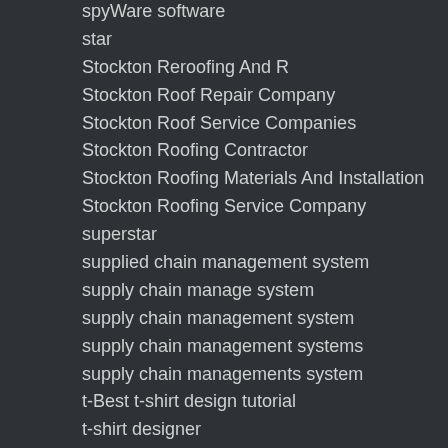spyWare software
star
Stockton Reroofing And R
Stockton Roof Repair Company
Stockton Roof Service Companies
Stockton Roofing Contractor
Stockton Roofing Materials And Installation
Stockton Roofing Service Company
superstar
supplied chain management system
supply chain manage system
supply chain management system
supply chain management systems
supply chain managements system
t-Best t-shirt design tutorial
t-shirt designer
tankless water heater palm desert